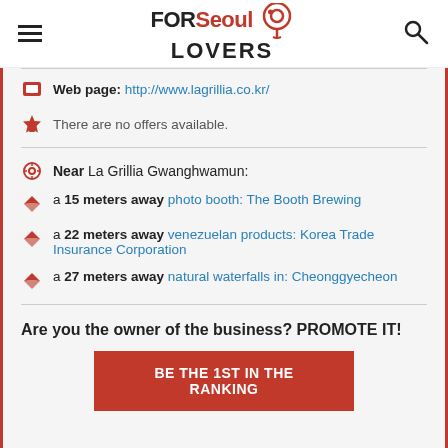FOR Seoul LOVERS
Web page: http://www.lagrillia.co.kr/
There are no offers available.
Near La Grillia Gwanghwamun:
a 15 meters away photo booth: The Booth Brewing
a 22 meters away venezuelan products: Korea Trade Insurance Corporation
a 27 meters away natural waterfalls in: Cheonggyecheon
Are you the owner of the business? PROMOTE IT!
BE THE 1ST IN THE RANKING